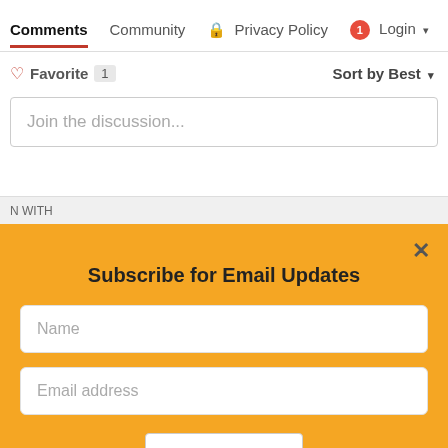Comments  Community  🔒 Privacy Policy  1 Login
♡ Favorite  1    Sort by Best
Join the discussion...
N WITH
Subscribe for Email Updates
Name
Email address
SUBMIT